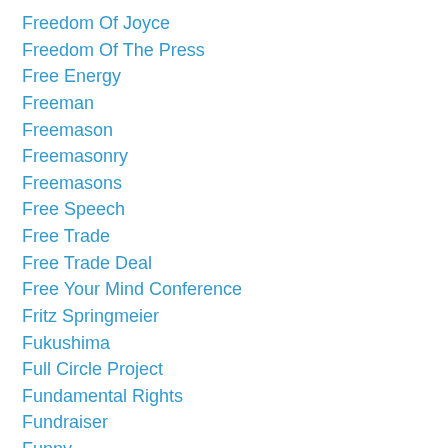Freedom Of Joyce
Freedom Of The Press
Free Energy
Freeman
Freemason
Freemasonry
Freemasons
Free Speech
Free Trade
Free Trade Deal
Free Your Mind Conference
Fritz Springmeier
Fukushima
Full Circle Project
Fundamental Rights
Fundraiser
Funny
Gabriel Lazar
Galaxy
Gall Stones
Gam Stallte